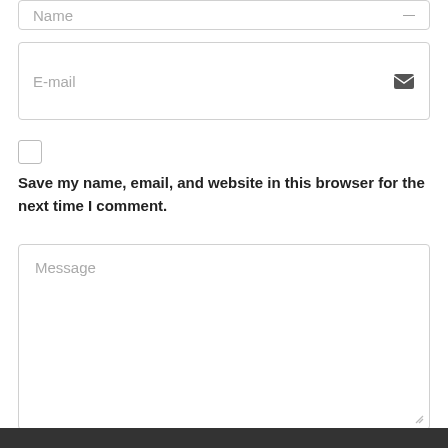[Figure (screenshot): A web form input field for Name at the top (partially visible), followed by an Email input field with an envelope icon, a checkbox, a label 'Save my name, email, and website in this browser for the next time I comment.', a Message textarea, and a dark submit button bar at the bottom.]
E-mail
Save my name, email, and website in this browser for the next time I comment.
Message